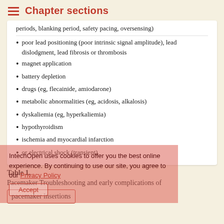Chapter sections
periods, blanking period, safety pacing, oversensing)
poor lead positioning (poor intrinsic signal amplitude), lead dislodgment, lead fibrosis or thrombosis
magnet application
battery depletion
drugs (eg, flecainide, amiodarone)
metabolic abnormalities (eg, acidosis, alkalosis)
dyskaliemia (eg, hyperkaliemia)
hypothyroidism
ischemia and myocardial infarction
or electrical shock (transient)
Table 1. Pacemaker Troubleshooting and early complications of pacemaker insertions